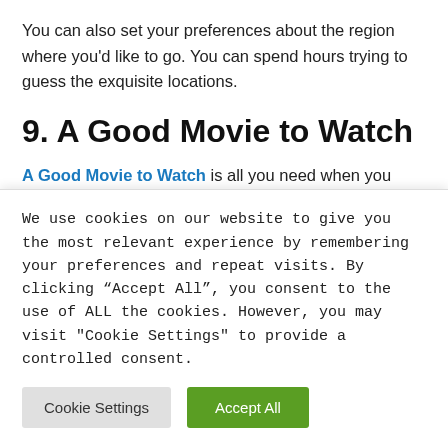You can also set your preferences about the region where you'd like to go. You can spend hours trying to guess the exquisite locations.
9. A Good Movie to Watch
A Good Movie to Watch is all you need when you have plenty of free time, and this website exactly serves the purpose. It will offer random quality suggestions that are
We use cookies on our website to give you the most relevant experience by remembering your preferences and repeat visits. By clicking “Accept All”, you consent to the use of ALL the cookies. However, you may visit "Cookie Settings" to provide a controlled consent.
Cookie Settings | Accept All